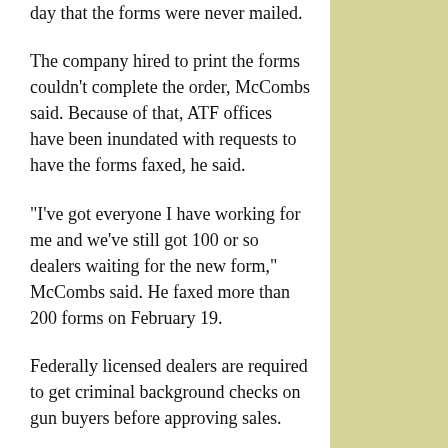day that the forms were never mailed.
The company hired to print the forms couldn't complete the order, McCombs said. Because of that, ATF offices have been inundated with requests to have the forms faxed, he said.
"I've got everyone I have working for me and we've still got 100 or so dealers waiting for the new form," McCombs said. He faxed more than 200 forms on February 19.
Federally licensed dealers are required to get criminal background checks on gun buyers before approving sales.
The Colorado Bureau of Investigation, which conducts the checks for dealers in Colorado, was bombarded with calls on the 19th, said CBI agent Mike Igoe.
Igoe said the ATF notified him of the change a week earlier, but when he contacted some of the state's largest dealers, none had received even the notification letter.